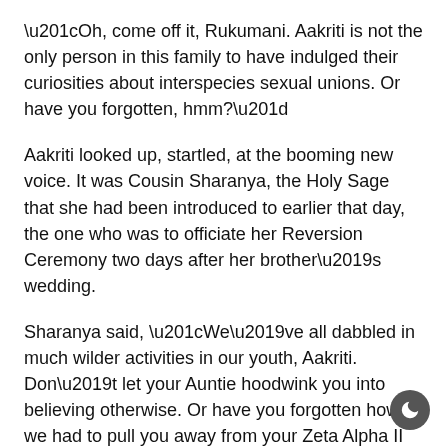“Oh, come off it, Rukumani. Aakriti is not the only person in this family to have indulged their curiosities about interspecies sexual unions. Or have you forgotten, hmm?”
Aakriti looked up, startled, at the booming new voice. It was Cousin Sharanya, the Holy Sage that she had been introduced to earlier that day, the one who was to officiate her Reversion Ceremony two days after her brother’s wedding.
Sharanya said, “We’ve all dabbled in much wilder activities in our youth, Aakriti. Don’t let your Auntie hoodwink you into believing otherwise. Or have you forgotten how we had to pull you away from your Zeta Alpha II lovers?”